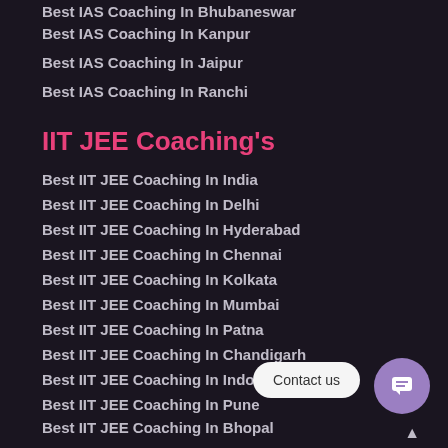Best IAS Coaching In Bhubaneswar
Best IAS Coaching In Kanpur
Best IAS Coaching In Jaipur
Best IAS Coaching In Ranchi
IIT JEE Coaching's
Best IIT JEE Coaching In India
Best IIT JEE Coaching In Delhi
Best IIT JEE Coaching In Hyderabad
Best IIT JEE Coaching In Chennai
Best IIT JEE Coaching In Kolkata
Best IIT JEE Coaching In Mumbai
Best IIT JEE Coaching In Patna
Best IIT JEE Coaching In Chandigarh
Best IIT JEE Coaching In Indore
Best IIT JEE Coaching In Pune
Best IIT JEE Coaching In Bhopal
Best IIT JEE Coaching In Ludhiana
Best IIT JEE Coaching In Bhubaneswar